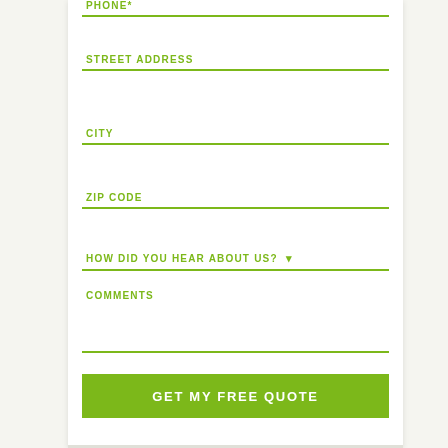PHONE*
STREET ADDRESS
CITY
ZIP CODE
HOW DID YOU HEAR ABOUT US?
COMMENTS
GET MY FREE QUOTE